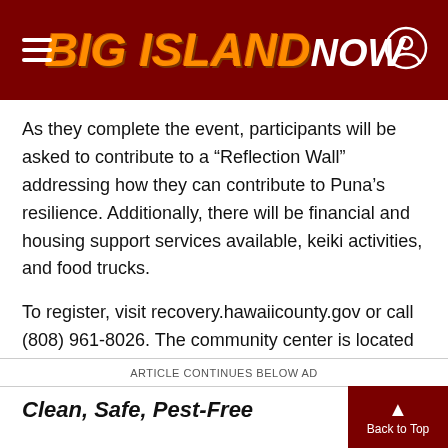Big Island Now
As they complete the event, participants will be asked to contribute to a “Reflection Wall” addressing how they can contribute to Puna’s resilience. Additionally, there will be financial and housing support services available, keiki activities, and food trucks.
To register, visit recovery.hawaiicounty.gov or call (808) 961-8026. The community center is located at 13-3441 Moku St. in Leilani Estates.
Resilience Station Overview
ARTICLE CONTINUES BELOW AD
Clean, Safe, Pest-Free